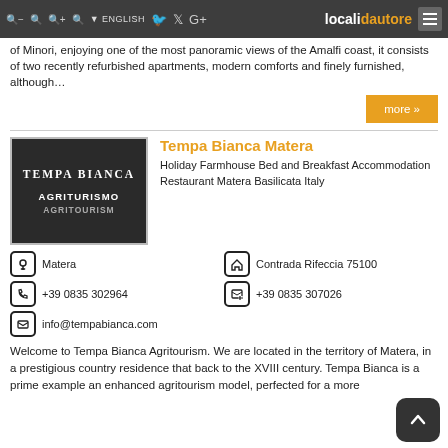localidautore — ENGLISH — navigation icons
of Minori, enjoying one of the most panoramic views of the Amalfi coast, it consists of two recently refurbished apartments, modern comforts and finely furnished, although…
more »
[Figure (logo): Tempa Bianca Agriturismo Agritourism logo — dark background with white serif text]
Tempa Bianca Matera
Holiday Farmhouse Bed and Breakfast Accommodation Restaurant Matera Basilicata Italy
Matera
Contrada Rifeccia 75100
+39 0835 302964
+39 0835 307026
info@tempabianca.com
Welcome to Tempa Bianca Agritourism. We are located in the territory of Matera, in a prestigious country residence that back to the XVIII century. Tempa Bianca is a prime example an enhanced agritourism model, perfected for a more